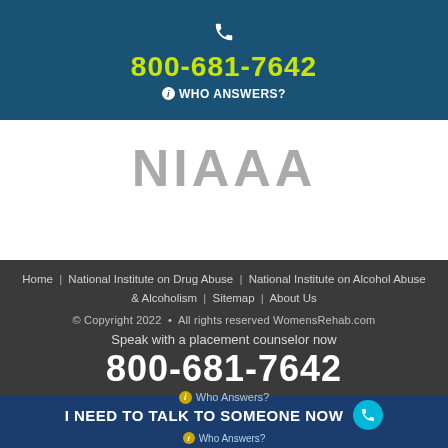800-681-7642 WHO ANSWERS?
[Figure (logo): NIAAA logo in gray text]
Home | National Institute on Drug Abuse | National Institute on Alcohol Abuse & Alcoholism | Sitemap | About Us
© Copyright 2022 • All rights reserved WomensRehab.com
Speak with a placement counselor now
800-681-7642
Who Answers?
I NEED TO TALK TO SOMEONE NOW Who Answers?